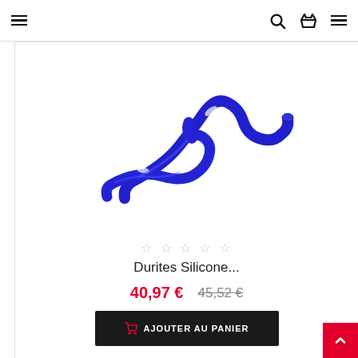Navigation bar with hamburger menu, search, basket, and menu icons
[Figure (photo): Two blue silicone hoses/durites on white background]
☆☆☆☆☆
Durites Silicone...
40,97 €   45,52 €
AJOUTER AU PANIER